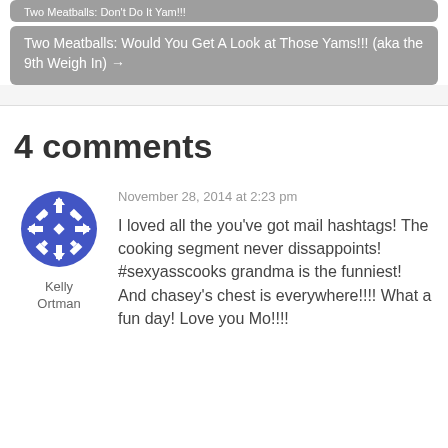Two Meatballs: Don't Do It Yam!!!
Two Meatballs: Would You Get A Look at Those Yams!!! (aka the 9th Weigh In) →
4 comments
November 28, 2014 at 2:23 pm
Kelly Ortman
I loved all the you've got mail hashtags! The cooking segment never dissappoints! #sexyasscooks grandma is the funniest! And chasey's chest is everywhere!!!! What a fun day! Love you Mo!!!!